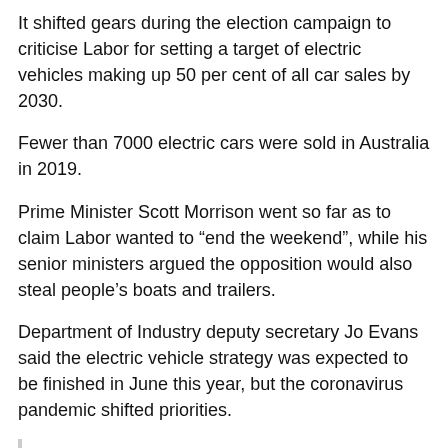It shifted gears during the election campaign to criticise Labor for setting a target of electric vehicles making up 50 per cent of all car sales by 2030.
Fewer than 7000 electric cars were sold in Australia in 2019.
Prime Minister Scott Morrison went so far as to claim Labor wanted to “end the weekend”, while his senior ministers argued the opposition would also steal people’s boats and trailers.
Department of Industry deputy secretary Jo Evans said the electric vehicle strategy was expected to be finished in June this year, but the coronavirus pandemic shifted priorities.
“We are still continuing to work on that,’ she told a Senate estimates hearing on Tuesday.